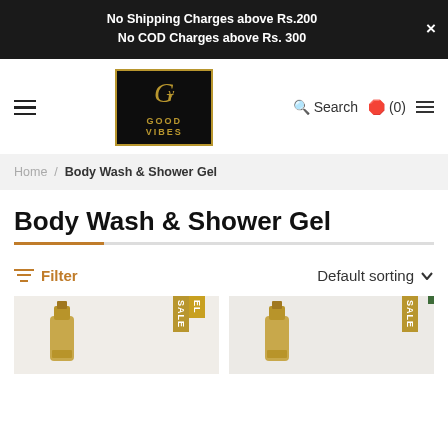No Shipping Charges above Rs.200
No COD Charges above Rs. 300
[Figure (logo): Good Vibes brand logo — black box with gold GV monogram and 'GOOD VIBES' text]
Search (0)
Home / Body Wash & Shower Gel
Body Wash & Shower Gel
Filter   Default sorting
[Figure (photo): Two product cards showing body wash/shower gel bottles with SALE badges]